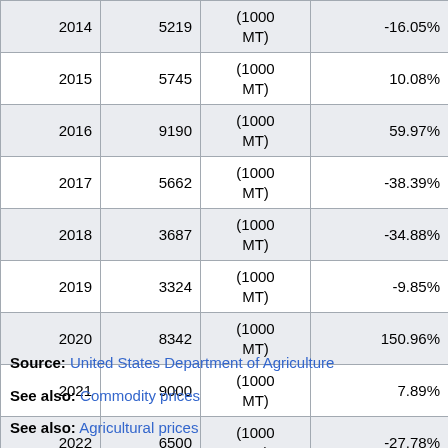| Year | Value | Unit | Change% |
| --- | --- | --- | --- |
| 2014 | 5219 | (1000 MT) | -16.05% |
| 2015 | 5745 | (1000 MT) | 10.08% |
| 2016 | 9190 | (1000 MT) | 59.97% |
| 2017 | 5662 | (1000 MT) | -38.39% |
| 2018 | 3687 | (1000 MT) | -34.88% |
| 2019 | 3324 | (1000 MT) | -9.85% |
| 2020 | 8342 | (1000 MT) | 150.96% |
| 2021 | 9000 | (1000 MT) | 7.89% |
| 2022 | 6500 | (1000 MT) | -27.78% |
Source: United States Department of Agriculture
See also: Commodity prices
See also: Agricultural prices